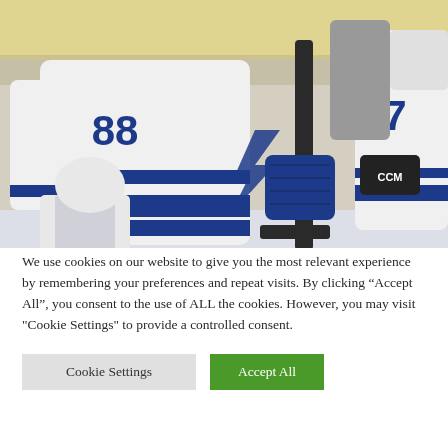[Figure (photo): Hockey players in Tampa Bay Lightning white jerseys with blue accents; player number 88 visible holding a hockey stick with blue gloves, another player partially visible on right side also in Lightning jersey]
We use cookies on our website to give you the most relevant experience by remembering your preferences and repeat visits. By clicking “Accept All”, you consent to the use of ALL the cookies. However, you may visit "Cookie Settings" to provide a controlled consent.
Cookie Settings
Accept All